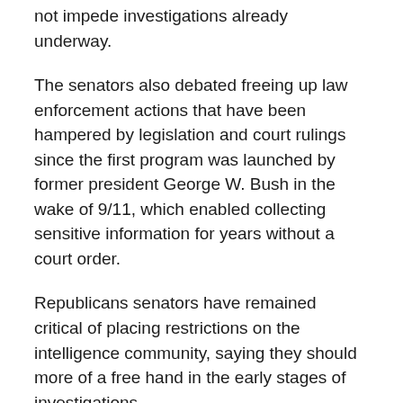not impede investigations already underway.
The senators also debated freeing up law enforcement actions that have been hampered by legislation and court rulings since the first program was launched by former president George W. Bush in the wake of 9/11, which enabled collecting sensitive information for years without a court order.
Republicans senators have remained critical of placing restrictions on the intelligence community, saying they should more of a free hand in the early stages of investigations.
But their Democratic counterparts have decried the fact that the provisions still do not in their view adequately respect the privacy of ordinary Americans.